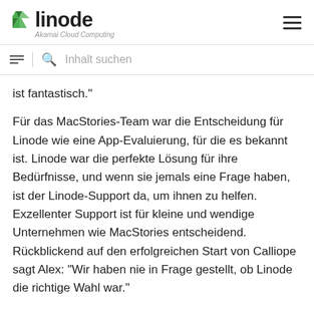linode — Akamai Cloud Computing
ist fantastisch."
Für das MacStories-Team war die Entscheidung für Linode wie eine App-Evaluierung, für die es bekannt ist. Linode war die perfekte Lösung für ihre Bedürfnisse, und wenn sie jemals eine Frage haben, ist der Linode-Support da, um ihnen zu helfen. Exzellenter Support ist für kleine und wendige Unternehmen wie MacStories entscheidend. Rückblickend auf den erfolgreichen Start von Calliope sagt Alex: "Wir haben nie in Frage gestellt, ob Linode die richtige Wahl war."